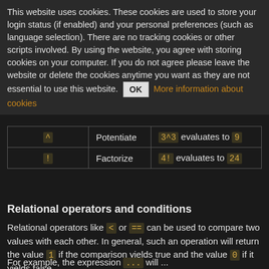This website uses cookies. These cookies are used to store your login status (if enabled) and your personal preferences (such as language selection). There are no tracking cookies or other scripts involved. By using the website, you agree with storing cookies on your computer. If you do not agree please leave the website or delete the cookies anytime you want as they are not essential to use this website. OK More information about cookies
| Symbol | Operation | Example |
| --- | --- | --- |
| ^ | Potentiate | 3^3 evaluates to 9 |
| ! | Factorize | 4! evaluates to 24 |
Relational operators and conditions
Relational operators like < or == can be used to compare two values with each other. In general, such an operation will return the value 1 if the comparison yields true and the value 0 if it yields false.
For example, the expression ... will ...